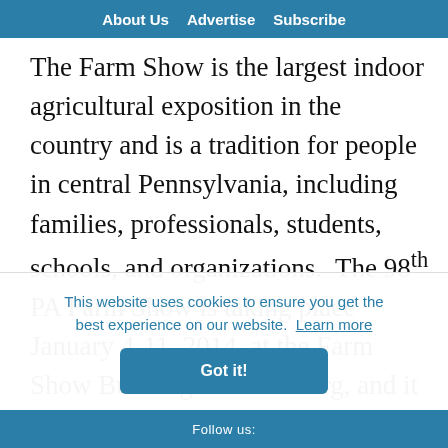About Us   Advertise   Subscribe
The Farm Show is the largest indoor agricultural exposition in the country and is a tradition for people in central Pennsylvania, including families, professionals, students, schools, and organizations.  The 98th PA Farm Show is taking place January 4-11, 2014, at the Farm Show Building in Harrisburg, and it includes 6,000
This website uses cookies to ensure you get the best experience on our website.  Learn more
Got it!
Follow us: